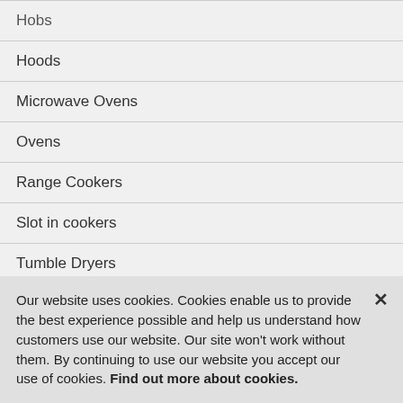Hobs
Hoods
Microwave Ovens
Ovens
Range Cookers
Slot in cookers
Tumble Dryers
Warming Drawers
Our website uses cookies. Cookies enable us to provide the best experience possible and help us understand how customers use our website. Our site won't work without them. By continuing to use our website you accept our use of cookies. Find out more about cookies.